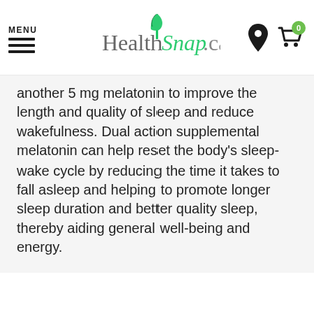MENU | HealthSnap.ca
another 5 mg melatonin to improve the length and quality of sleep and reduce wakefulness. Dual action supplemental melatonin can help reset the body's sleep-wake cycle by reducing the time it takes to fall asleep and helping to promote longer sleep duration and better quality sleep, thereby aiding general well-being and energy.
Powered by YOTPO
[Figure (other): Five empty star rating icons in olive/yellow-green outline style]